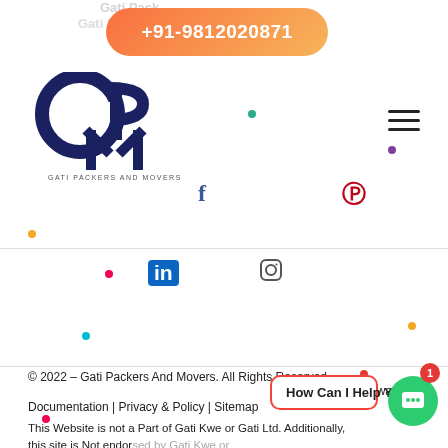[Figure (logo): GPM Gati Packers and Movers logo - dark navy blue circular G, P, M letters]
+91-9812020871
[Figure (infographic): Social media icons: Facebook, Pinterest, LinkedIn, Instagram]
© 2022 – Gati Packers And Movers. All Rights Reserved. Awards & Documentation | Privacy & Policy | Sitemap
This Website is not a Part of Gati Kwe or Gati Ltd. Additionally, this site is Not endor... Gati Packers and Mo... Gati Packers and Movers.
How Can I Help You ...